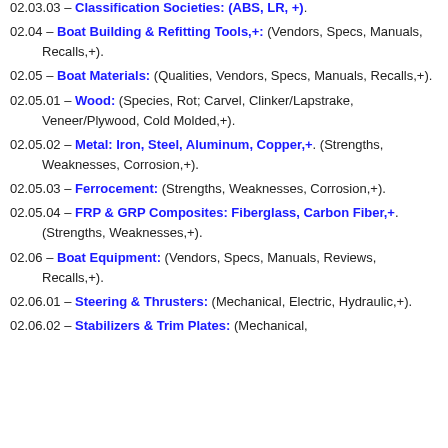02.03.03 – Classification Societies: (ABS, LR, +).
02.04 – Boat Building & Refitting Tools,+: (Vendors, Specs, Manuals, Recalls,+).
02.05 – Boat Materials: (Qualities, Vendors, Specs, Manuals, Recalls,+).
02.05.01 – Wood: (Species, Rot; Carvel, Clinker/Lapstrake, Veneer/Plywood, Cold Molded,+).
02.05.02 – Metal: Iron, Steel, Aluminum, Copper,+. (Strengths, Weaknesses, Corrosion,+).
02.05.03 – Ferrocement: (Strengths, Weaknesses, Corrosion,+).
02.05.04 – FRP & GRP Composites: Fiberglass, Carbon Fiber,+. (Strengths, Weaknesses,+).
02.06 – Boat Equipment: (Vendors, Specs, Manuals, Reviews, Recalls,+).
02.06.01 – Steering & Thrusters: (Mechanical, Electric, Hydraulic,+).
02.06.02 – Stabilizers & Trim Plates: (Mechanical,